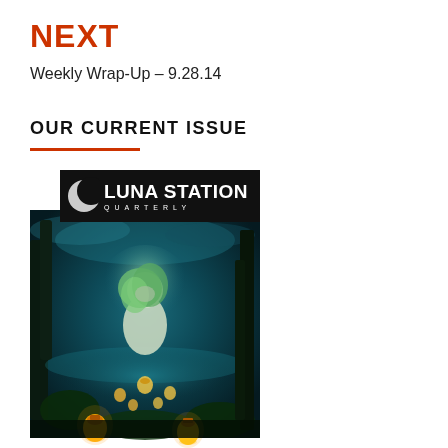NEXT
Weekly Wrap-Up – 9.28.14
OUR CURRENT ISSUE
[Figure (illustration): Cover of Luna Station Quarterly magazine. Black header bar with crescent moon logo on the left and 'LUNA STATION QUARTERLY' text. Below is an illustrated fantasy scene with a glowing child figure sitting in water surrounded by glowing lanterns and lush dark foliage.]